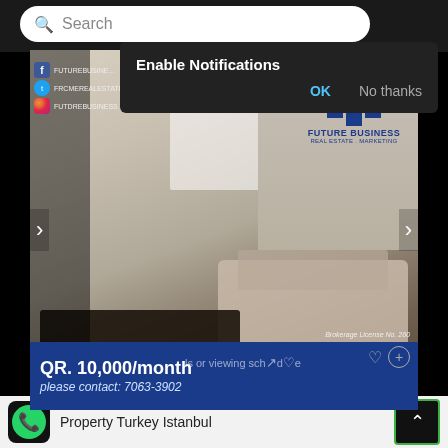[Figure (screenshot): Mobile browser screenshot showing a real estate listing app with a notification popup 'Enable Notifications' with OK and No thanks buttons, a property photo of a living room with sofa and coffee table, FOR RENT and LIMITED PROMO badges, Future Business Real Estate Marketing logo, price QR. 10,000/month, contact 7063-3902, brokerage license No. 260, and a Property Turkey Istanbul app notification at the bottom.]